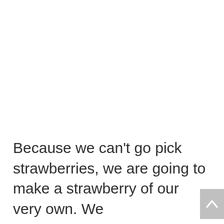Because we can't go pick strawberries, we are going to make a strawberry of our very own. We